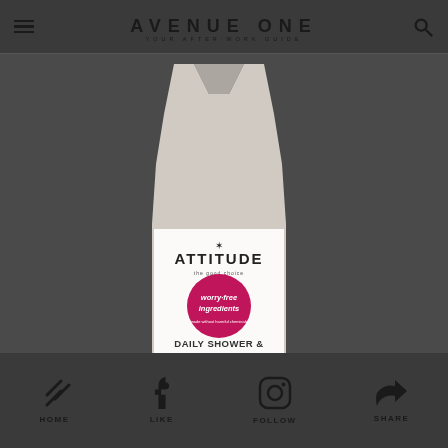AVENUE ONE — YOUR AFTER-WORK GUIDE
[Figure (photo): Avenue One website screenshot showing a product photo of Attitude Daily Shower & Tile Cleaner bottle with pink circular badge saying 'worry-free ingredients', displayed on a dark grey background]
HOME | LIKE | FOLLOW | SHARE